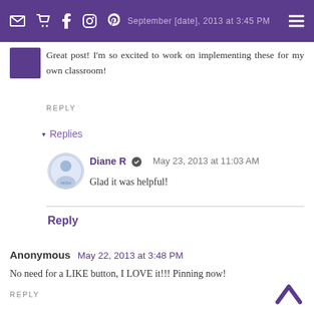September [date] 2013 at 3:45 PM
Great post! I'm so excited to work on implementing these for my own classroom!
REPLY
▾ Replies
Diane R ✓  May 23, 2013 at 11:03 AM
Glad it was helpful!
Reply
Anonymous  May 22, 2013 at 3:48 PM
No need for a LIKE button, I LOVE it!!! Pinning now!
REPLY